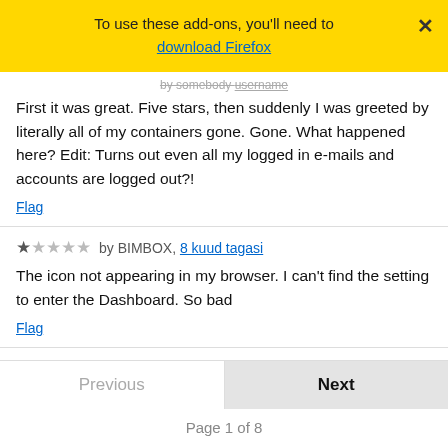[Figure (screenshot): Yellow notification banner with text 'To use these add-ons, you'll need to download Firefox' with a close button (X) in the top right corner]
by somebody [strikethrough author name]
First it was great. Five stars, then suddenly I was greeted by literally all of my containers gone. Gone. What happened here? Edit: Turns out even all my logged in e-mails and accounts are logged out?!
Flag
★☆☆☆☆ by BIMBOX, 8 kuud tagasi
The icon not appearing in my browser. I can't find the setting to enter the Dashboard. So bad
Flag
Previous
Next
Page 1 of 8